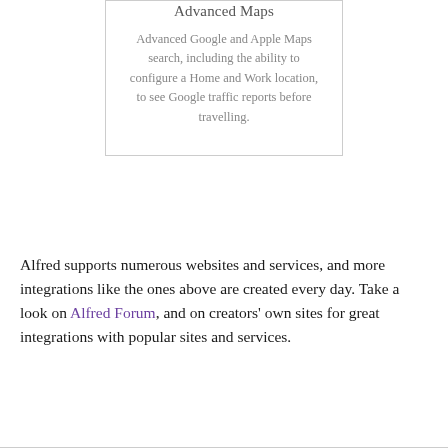Advanced Maps
Advanced Google and Apple Maps search, including the ability to configure a Home and Work location, to see Google traffic reports before travelling.
Alfred supports numerous websites and services, and more integrations like the ones above are created every day. Take a look on Alfred Forum, and on creators' own sites for great integrations with popular sites and services.